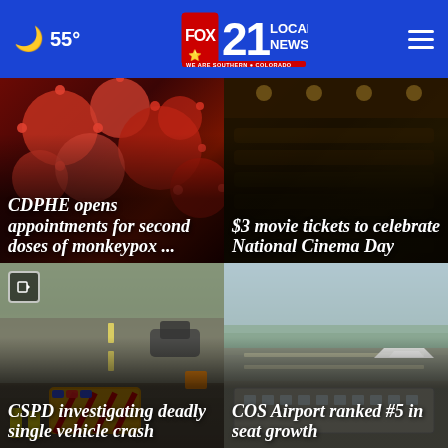55° FOX 21 LOCAL NEWS WE ARE SOUTHERN COLORADO
[Figure (screenshot): News card with microscopic virus image background. Headline: 'CDPHE opens appointments for second doses of monkeypox ...']
CDPHE opens appointments for second doses of monkeypox ...
[Figure (screenshot): News card with dark cinema/theater background. Headline: '$3 movie tickets to celebrate National Cinema Day']
$3 movie tickets to celebrate National Cinema Day
[Figure (screenshot): News card with highway crash scene showing fire trucks and emergency responders. Has video badge. Headline: 'CSPD investigating deadly single vehicle crash']
CSPD investigating deadly single vehicle crash
[Figure (screenshot): News card with aerial view of COS Airport. Headline: 'COS Airport ranked #5 in seat growth']
COS Airport ranked #5 in seat growth